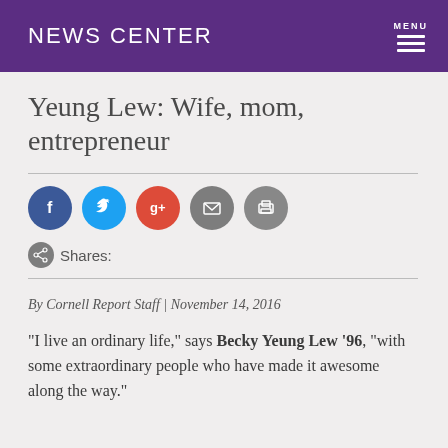News Center
Yeung Lew: Wife, mom, entrepreneur
By Cornell Report Staff | November 14, 2016
“I live an ordinary life,” says Becky Yeung Lew ’96, “with some extraordinary people who have made it awesome along the way.”